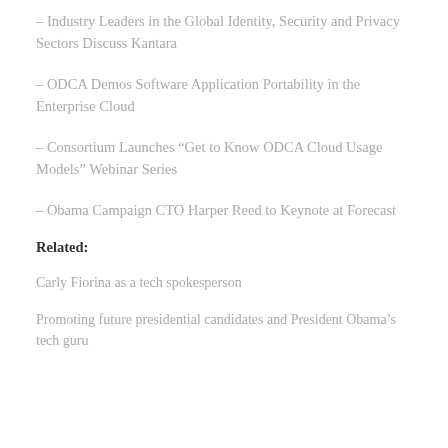– Industry Leaders in the Global Identity, Security and Privacy Sectors Discuss Kantara
– ODCA Demos Software Application Portability in the Enterprise Cloud
– Consortium Launches “Get to Know ODCA Cloud Usage Models” Webinar Series
– Obama Campaign CTO Harper Reed to Keynote at Forecast
Related:
Carly Fiorina as a tech spokesperson
Promoting future presidential candidates and President Obama’s tech guru